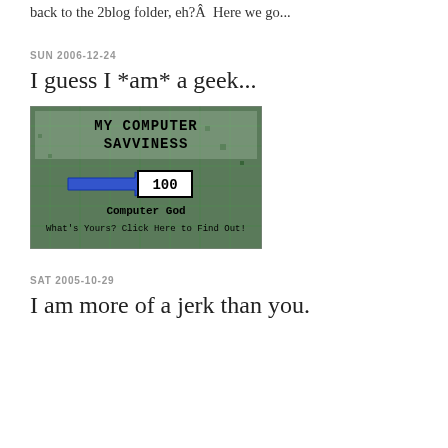back to the 2blog folder, eh?Â  Here we go...
SUN 2006-12-24
I guess I *am* a geek...
[Figure (illustration): A badge image titled 'My Computer Savviness' on a circuit board background, showing a blue arrow pointing to a box with '100', labeled 'Computer God', with text 'What's Yours? Click Here to Find Out!']
SAT 2005-10-29
I am more of a jerk than you.